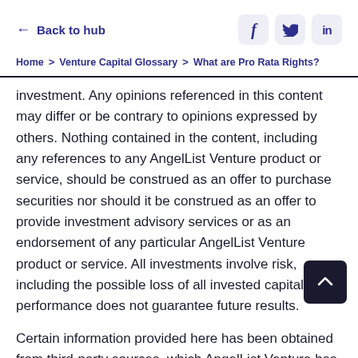← Back to hub
Home > Venture Capital Glossary > What are Pro Rata Rights?
investment. Any opinions referenced in this content may differ or be contrary to opinions expressed by others. Nothing contained in the content, including any references to any AngelList Venture product or service, should be construed as an offer to purchase securities nor should it be construed as an offer to provide investment advisory services or as an endorsement of any particular AngelList Venture product or service. All investments involve risk, including the possible loss of all invested capital. Past performance does not guarantee future results.
Certain information provided here has been obtained from third-party sources, which AngelList Venture has presumed to